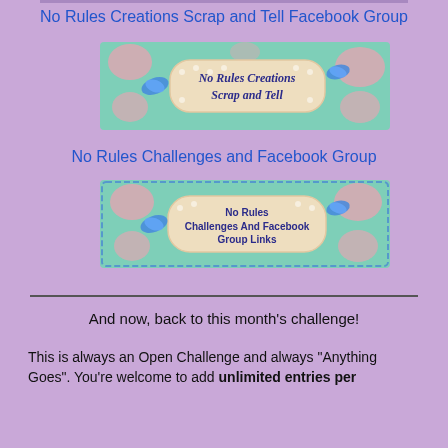No Rules Creations Scrap and Tell Facebook Group
[Figure (illustration): Decorative banner image with mint green floral background, pink roses, blue butterfly, and a polka-dot label reading 'No Rules Creations Scrap and Tell']
No Rules Challenges and Facebook Group
[Figure (illustration): Decorative banner image with mint green floral background, pink roses, blue butterfly, and a polka-dot label reading 'No Rules Challenges And Facebook Group Links']
And now, back to this month's challenge!
This is always an Open Challenge and always "Anything Goes". You're welcome to add unlimited entries per